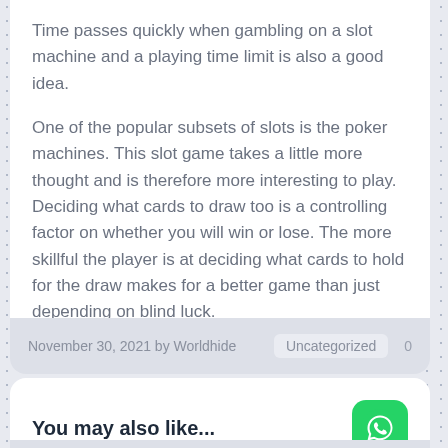Time passes quickly when gambling on a slot machine and a playing time limit is also a good idea.

One of the popular subsets of slots is the poker machines. This slot game takes a little more thought and is therefore more interesting to play. Deciding what cards to draw too is a controlling factor on whether you will win or lose. The more skillful the player is at deciding what cards to hold for the draw makes for a better game than just depending on blind luck.
November 30, 2021 by Worldhide   Uncategorized   0
You may also like...